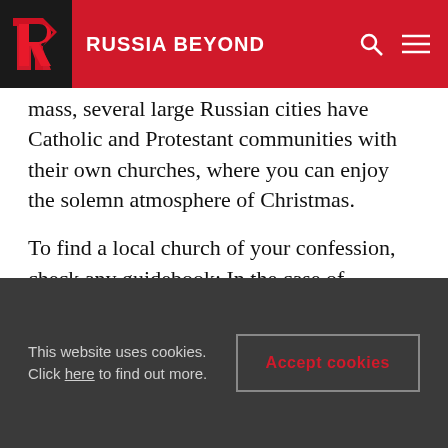RUSSIA BEYOND
mass, several large Russian cities have Catholic and Protestant communities with their own churches, where you can enjoy the solemn atmosphere of Christmas.
To find a local church of your confession, check any guidebook: In the case of Catholics, there's the online Catholic Travel Guide.  For Protestants, it's a bit harder due to the multiplicity of confessions, but the Lutheran churches of St. Peter and St. Paul are easy to find in both Moscow and St. Petersburg.
This website uses cookies. Click here to find out more.
Accept cookies